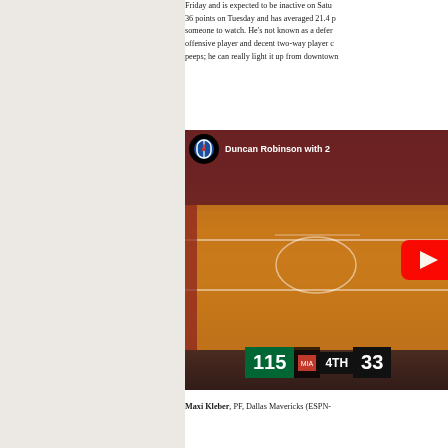Friday and is expected to be inactive on Saturday. 36 points on Tuesday and has averaged 21.4 p someone to watch. He's not known as a defer offensive player and decent two-way player c peeps; he can really light it up from downtown
[Figure (screenshot): YouTube video thumbnail showing a basketball game. Title overlay reads 'Duncan Robinson with 2'. NBA logo visible in top-left corner. Red YouTube play button on right side. Scoreboard at bottom shows 115 | 4TH | 33.]
Maxi Kleber, PF, Dallas Mavericks (ESPN-